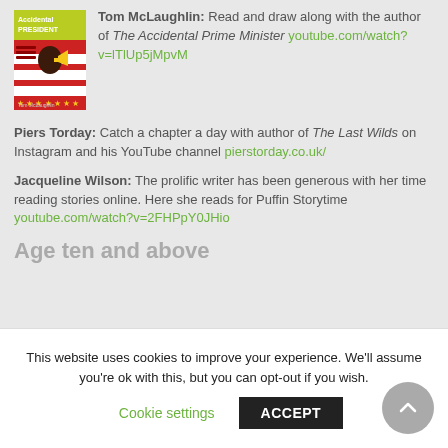Tom McLaughlin: Read and draw along with the author of The Accidental Prime Minister youtube.com/watch?v=lTlUp5jMpvM
[Figure (illustration): Book cover for The Accidental Prime Minister by Tom McLaughlin, showing a child with a yellow megaphone against a red and white striped background with stars]
Piers Torday: Catch a chapter a day with author of The Last Wilds on Instagram and his YouTube channel pierstorday.co.uk/
Jacqueline Wilson: The prolific writer has been generous with her time reading stories online. Here she reads for Puffin Storytime youtube.com/watch?v=2FHPpY0JHio
Age ten and above
This website uses cookies to improve your experience. We'll assume you're ok with this, but you can opt-out if you wish.
Cookie settings
ACCEPT